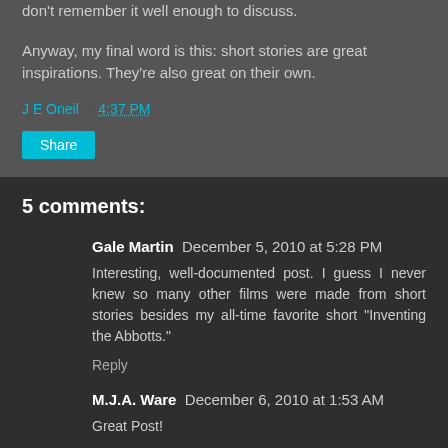don't remember it well enough to discuss.
Anyway, my final word is this: short stories are great inspirations. They're also great on their own.
J E Oneil at 4:37 PM
Share
5 comments:
Gale Martin  December 5, 2010 at 5:28 PM
Interesting, well-documented post. I guess I never knew so many other films were made from short stories besides my all-time favorite short "Inventing the Abbotts."
Reply
M.J.A. Ware  December 6, 2010 at 1:53 AM
Great Post!